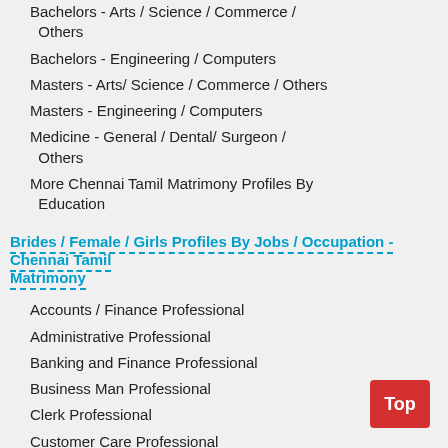Bachelors - Arts / Science / Commerce / Others
Bachelors - Engineering / Computers
Masters - Arts/ Science / Commerce / Others
Masters - Engineering / Computers
Medicine - General / Dental/ Surgeon / Others
More Chennai Tamil Matrimony Profiles By Education
Brides / Female / Girls Profiles By Jobs / Occupation - Chennai Tamil Matrimony
Accounts / Finance Professional
Administrative Professional
Banking and Finance Professional
Business Man Professional
Clerk Professional
Customer Care Professional
Doctor Professional
Education Professional
Engineer-Non IT Professional
IT and Engineering Professional